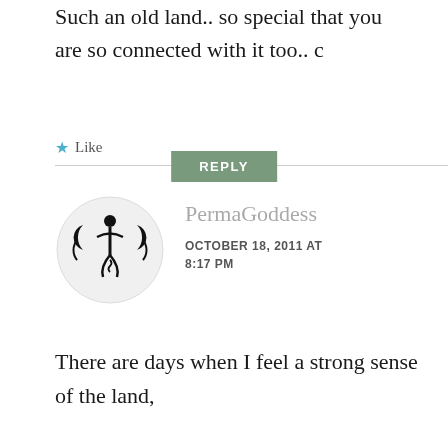Such an old land.. so special that you are so connected with it too.. c
Like
REPLY
[Figure (illustration): Circular avatar with black triple moon goddess symbol on white background]
PermaGoddess
OCTOBER 18, 2011 AT 8:17 PM
There are days when I feel a strong sense of the land,